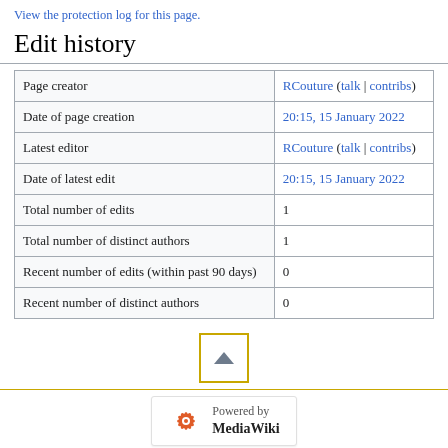View the protection log for this page.
Edit history
|  |  |
| --- | --- |
| Page creator | RCouture (talk | contribs) |
| Date of page creation | 20:15, 15 January 2022 |
| Latest editor | RCouture (talk | contribs) |
| Date of latest edit | 20:15, 15 January 2022 |
| Total number of edits | 1 |
| Total number of distinct authors | 1 |
| Recent number of edits (within past 90 days) | 0 |
| Recent number of distinct authors | 0 |
[Figure (other): Scroll to top button with upward triangle arrow, outlined in gold/yellow border]
[Figure (logo): Powered by MediaWiki logo with gear/sunburst icon]
Privacy policy   About Project Seven Years War   Disclaimers